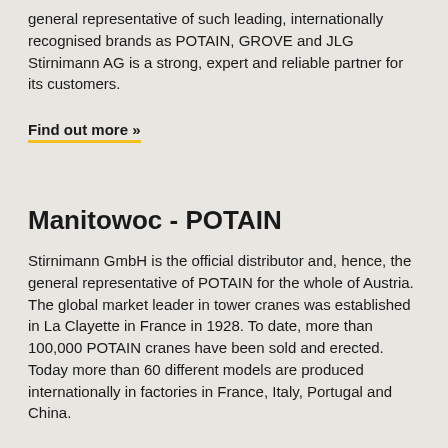general representative of such leading, internationally recognised brands as POTAIN, GROVE and JLG Stirnimann AG is a strong, expert and reliable partner for its customers.
Find out more »
Manitowoc - POTAIN
Stirnimann GmbH is the official distributor and, hence, the general representative of POTAIN for the whole of Austria. The global market leader in tower cranes was established in La Clayette in France in 1928. To date, more than 100,000 POTAIN cranes have been sold and erected. Today more than 60 different models are produced internationally in factories in France, Italy, Portugal and China.
Find out more »